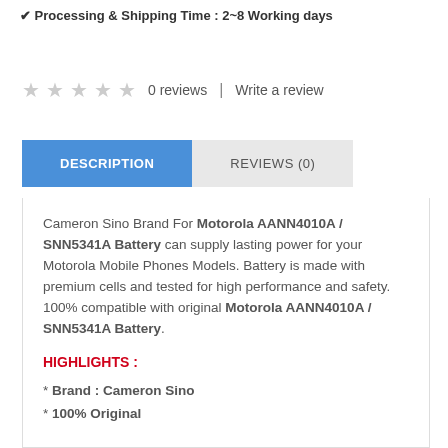✔ Processing & Shipping Time : 2~8 Working days
★★★★★  0 reviews  |  Write a review
DESCRIPTION
REVIEWS (0)
Cameron Sino Brand For Motorola AANN4010A / SNN5341A Battery can supply lasting power for your Motorola Mobile Phones Models. Battery is made with premium cells and tested for high performance and safety. 100% compatible with original Motorola AANN4010A / SNN5341A Battery.
HIGHLIGHTS :
* Brand : Cameron Sino
* 100% Original